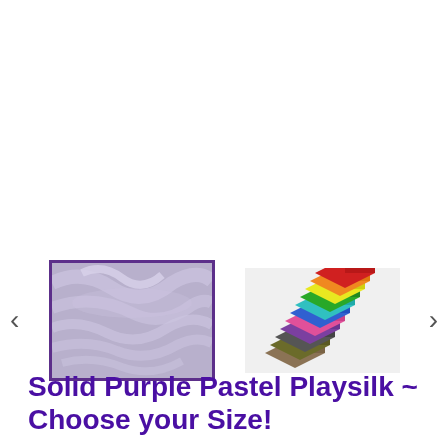[Figure (photo): Carousel of product images: left arrow, selected thumbnail of purple pastel silk fabric with purple border, second thumbnail showing stacked colorful fabric squares, right arrow]
Solid Purple Pastel Playsilk ~ Choose your Size!
★★★★★ (2)
$5.00